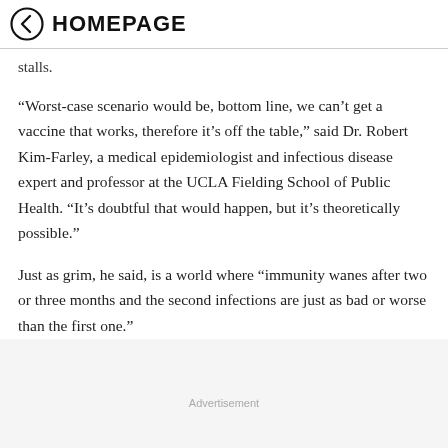HOMEPAGE
stalls.
“Worst-case scenario would be, bottom line, we can’t get a vaccine that works, therefore it’s off the table,” said Dr. Robert Kim-Farley, a medical epidemiologist and infectious disease expert and professor at the UCLA Fielding School of Public Health. “It’s doubtful that would happen, but it’s theoretically possible.”
Just as grim, he said, is a world where “immunity wanes after two or three months and the second infections are just as bad or worse than the first one.”
Advertisement